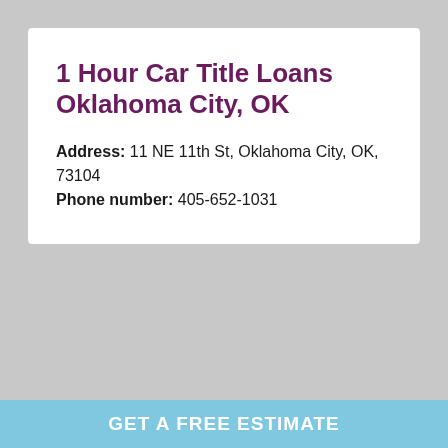1 Hour Car Title Loans Oklahoma City, OK
Address: 11 NE 11th St, Oklahoma City, OK, 73104
Phone number: 405-652-1031
[Figure (other): Gray placeholder image area below the white card]
GET A FREE ESTIMATE